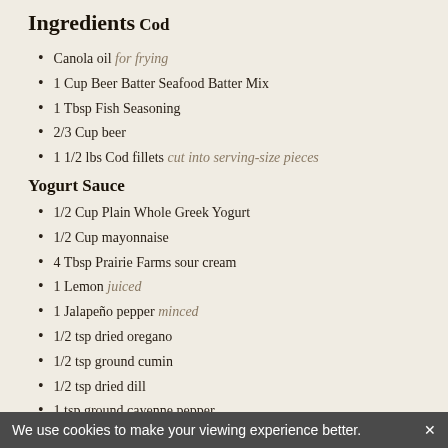Ingredients
Cod
Canola oil for frying
1 Cup Beer Batter Seafood Batter Mix
1 Tbsp Fish Seasoning
2/3 Cup beer
1 1/2 lbs Cod fillets cut into serving-size pieces
Yogurt Sauce
1/2 Cup Plain Whole Greek Yogurt
1/2 Cup mayonnaise
4 Tbsp Prairie Farms sour cream
1 Lemon juiced
1 Jalapeño pepper minced
1/2 tsp dried oregano
1/2 tsp ground cumin
1/2 tsp dried dill
1 tsp ground cayenne pepper
We use cookies to make your viewing experience better. ×